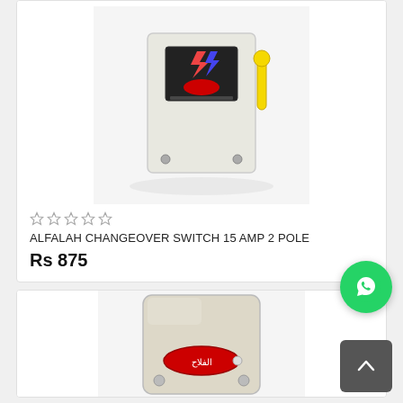[Figure (photo): Photo of Alfalah Changeover Switch 15 Amp 2 Pole - a white electrical switch box with yellow handle lever and brand stickers]
★★★★★ (empty stars rating)
ALFALAH CHANGEOVER SWITCH 15 AMP 2 POLE
Rs 875
[Figure (photo): Photo of another Alfalah electrical switch/changeover - white box with red Arabic label badge]